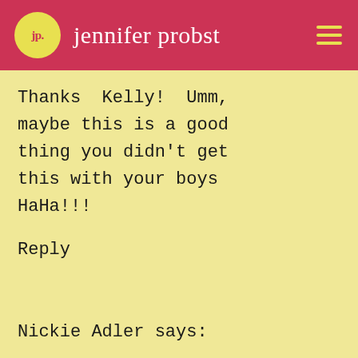jp. jennifer probst
Thanks Kelly! Umm, maybe this is a good thing you didn't get this with your boys HaHa!!!
Reply
Nickie Adler says: